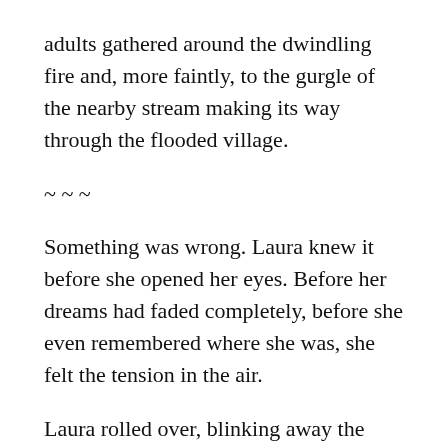adults gathered around the dwindling fire and, more faintly, to the gurgle of the nearby stream making its way through the flooded village.
~ ~ ~
Something was wrong. Laura knew it before she opened her eyes. Before her dreams had faded completely, before she even remembered where she was, she felt the tension in the air.
Laura rolled over, blinking away the sleep. It was still night. The moon had climbed higher in the sky. It was just as round and bright, but it felt further off. The glow it cast